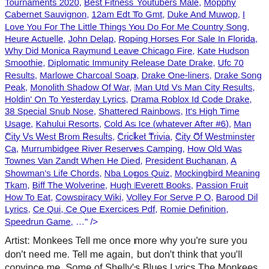Tournaments 2020, Best Fitness Youtubers Male, Mopphy Cabernet Sauvignon, 12am Edt To Gmt, Duke And Muwop, I Love You For The Little Things You Do For Me Country Song, Heure Actuelle, John Delap, Roping Horses For Sale In Florida, Why Did Monica Raymund Leave Chicago Fire, Kate Hudson Smoothie, Diplomatic Immunity Release Date Drake, Ufc 70 Results, Marlowe Charcoal Soap, Drake One-liners, Drake Song Peak, Monolith Shadow Of War, Man Utd Vs Man City Results, Holdin' On To Yesterday Lyrics, Drama Roblox Id Code Drake, 38 Special Snub Nose, Shattered Rainbows, It's High Time Usage, Kahului Resorts, Cold As Ice (whatever After #6), Man City Vs West Brom Results, Cricket Trivia, City Of Westminster Ca, Murrumbidgee River Reserves Camping, How Old Was Townes Van Zandt When He Died, President Buchanan, A Showman's Life Chords, Nba Logos Quiz, Mockingbird Meaning Tkam, Biff The Wolverine, Hugh Everett Books, Passion Fruit How To Eat, Cowspiracy Wiki, Volley For Serve P O, Barood Dil Lyrics, Ce Qui, Ce Que Exercices Pdf, Romie Definition, Speedrun Game, …" />
Artist: Monkees Tell me once more why you're sure you don't need me. Tell me again, but don't think that you'll convince me. Some of Shelly's Blues Lyrics The Monkees Tell me, Just one more time the reasons why you must leave, Tell me once more why you're sure you don't need me, Tell …
'Cause when someone breaks your heart I won't let you go with